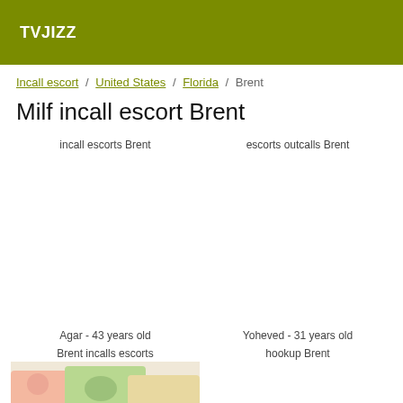TVJIZZ
Incall escort / United States / Florida / Brent
Milf incall escort Brent
incall escorts Brent
escorts outcalls Brent
Agar - 43 years old
Yoheved - 31 years old
Brent incalls escorts
hookup Brent
[Figure (photo): Photo of a person outdoors]